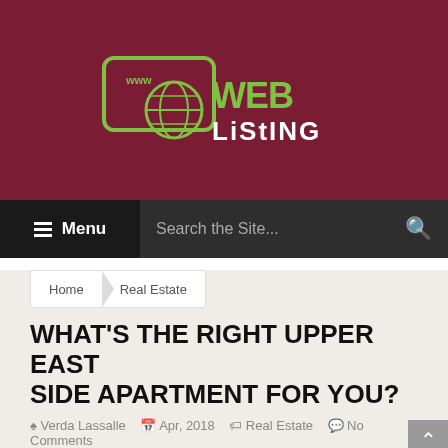[Figure (logo): Web Listing logo with globe icon and 'www WEB LISTING' text in green and white on dark red background]
Menu   Search the Site...
Home  Real Estate
WHAT'S THE RIGHT UPPER EAST SIDE APARTMENT FOR YOU?
Verda Lassalle   Apr, 2018   Real Estate   No Comments
The Upper East Side is one of New York's most famous neighborhoods and having an address there is considered to be one of the biggest and most...